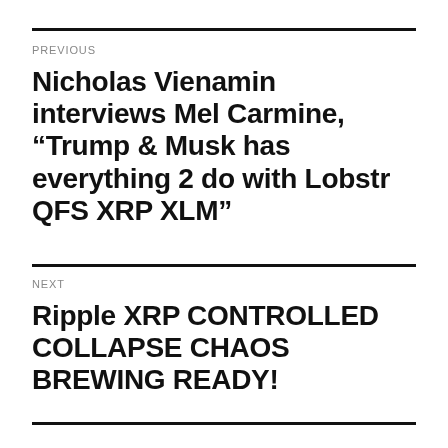PREVIOUS
Nicholas Vienamin interviews Mel Carmine, “Trump & Musk has everything 2 do with Lobstr QFS XRP XLM”
NEXT
Ripple XRP CONTROLLED COLLAPSE CHAOS BREWING READY!